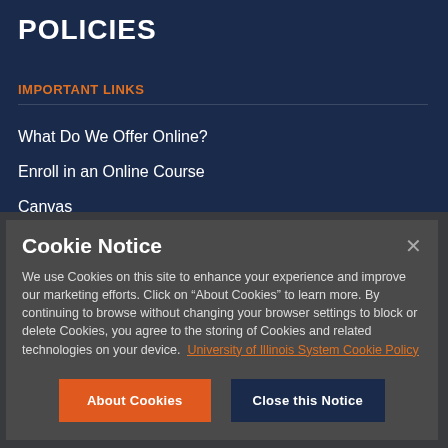POLICIES
IMPORTANT LINKS
What Do We Offer Online?
Enroll in an Online Course
Canvas
Log into Illinois Compass 2G
Moodle
Cookie Notice
We use Cookies on this site to enhance your experience and improve our marketing efforts. Click on "About Cookies" to learn more. By continuing to browse without changing your browser settings to block or delete Cookies, you agree to the storing of Cookies and related technologies on your device. University of Illinois System Cookie Policy
About Cookies
Close this Notice